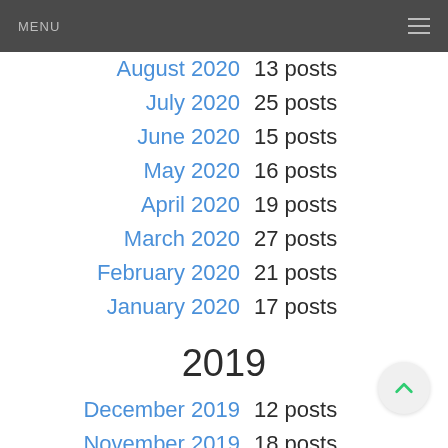MENU
August 2020   13 posts
July 2020   25 posts
June 2020   15 posts
May 2020   16 posts
April 2020   19 posts
March 2020   27 posts
February 2020   21 posts
January 2020   17 posts
2019
December 2019   12 posts
November 2019   18 posts
October 2019   17 posts
September 2019   18 posts (partial)